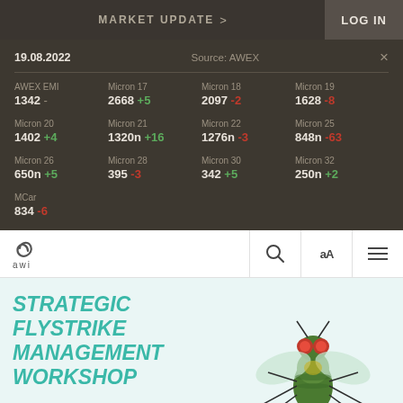MARKET UPDATE > LOG IN
19.08.2022   Source: AWEX
| Category | Value | Change |
| --- | --- | --- |
| AWEX EMI | 1342 | - |
| Micron 17 | 2668 | +5 |
| Micron 18 | 2097 | -2 |
| Micron 19 | 1628 | -8 |
| Micron 20 | 1402 | +4 |
| Micron 21 | 1320n | +16 |
| Micron 22 | 1276n | -3 |
| Micron 25 | 848n | -63 |
| Micron 26 | 650n | +5 |
| Micron 28 | 395 | -3 |
| Micron 30 | 342 | +5 |
| Micron 32 | 250n | +2 |
| MCar | 834 | -6 |
[Figure (logo): AWI spiral logo]
STRATEGIC FLYSTRIKE MANAGEMENT WORKSHOP
[Figure (photo): Close-up photo of a blowfly on white background]